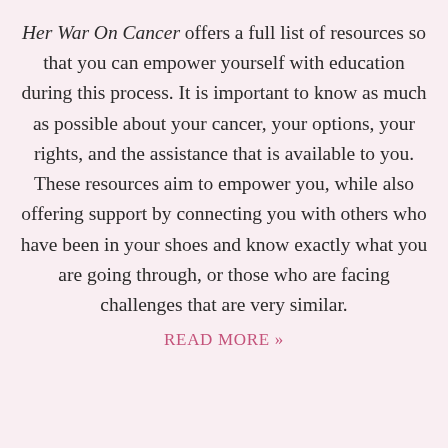Her War On Cancer offers a full list of resources so that you can empower yourself with education during this process. It is important to know as much as possible about your cancer, your options, your rights, and the assistance that is available to you. These resources aim to empower you, while also offering support by connecting you with others who have been in your shoes and know exactly what you are going through, or those who are facing challenges that are very similar.
READ MORE »